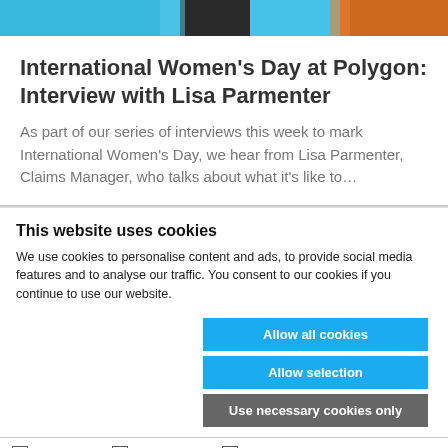[Figure (photo): Top decorative image strip with blue and orange tones showing partial article header illustration]
International Women’s Day at Polygon: Interview with Lisa Parmenter
As part of our series of interviews this week to mark International Women’s Day, we hear from Lisa Parmenter, Claims Manager, who talks about what it’s like to…
This website uses cookies
We use cookies to personalise content and ads, to provide social media features and to analyse our traffic. You consent to our cookies if you continue to use our website.
Allow all cookies
Allow selection
Use necessary cookies only
Necessary  Preferences  Statistics  Marketing  Show details